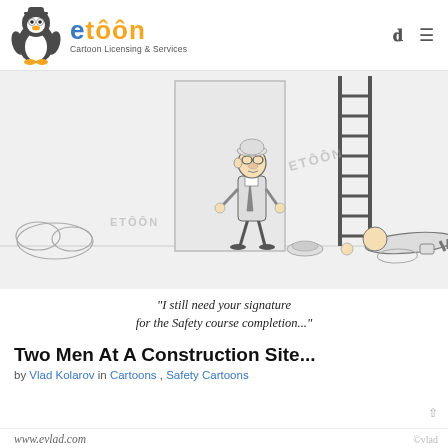ETOON Cartoon Licensing & Services
[Figure (illustration): Black and white cartoon showing a construction site worker standing upright in a suit and hard hat looking down at a fallen worker lying flat on the ground, with construction scaffolding/ladder and a spilled hard hat visible. The cartoon has ETOON watermarks. Caption reads: "I still need your signature for the Safety course completion..."]
"I still need your signature for the Safety course completion..."
Two Men At A Construction Site...
by Vlad Kolarov in Cartoons , Safety Cartoons
www.evlad.com